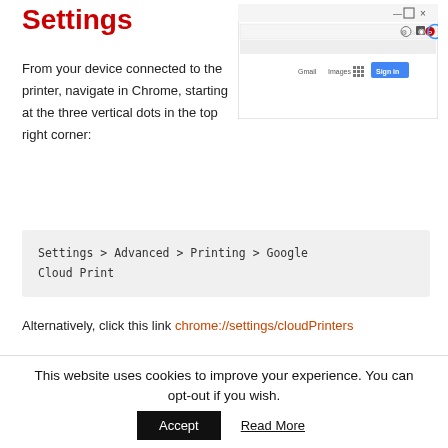Settings
[Figure (screenshot): Chrome browser window screenshot showing the top-right three-dot menu icon circled in blue, with Gmail, Images, grid icon, and Sign in button visible]
From your device connected to the printer, navigate in Chrome, starting at the three vertical dots in the top right corner:
Settings > Advanced > Printing > Google Cloud Print
Alternatively, click this link chrome://settings/cloudPrinters
Unless you're signed into your Google Account, the next steps
This website uses cookies to improve your experience. You can opt-out if you wish.